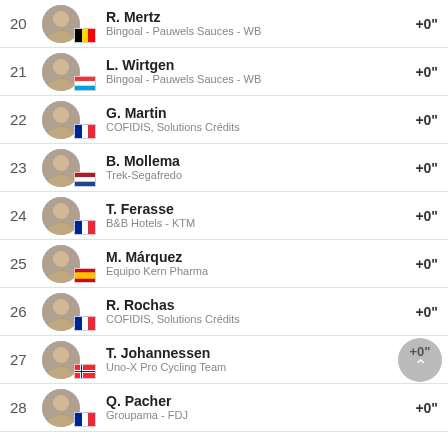20 R. Mertz | Bingoal - Pauwels Sauces - WB | +0"
21 L. Wirtgen | Bingoal - Pauwels Sauces - WB | +0"
22 G. Martin | COFIDIS, Solutions Crédits | +0"
23 B. Mollema | Trek-Segafredo | +0"
24 T. Ferasse | B&B Hotels - KTM | +0"
25 M. Márquez | Equipo Kern Pharma | +0"
26 R. Rochas | COFIDIS, Solutions Crédits | +0"
27 T. Johannessen | Uno-X Pro Cycling Team | +0"
28 Q. Pacher | Groupama - FDJ | +0"